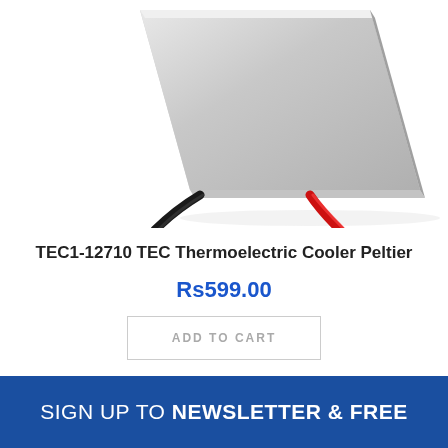[Figure (photo): Photo of TEC1-12710 TEC Thermoelectric Cooler Peltier module, showing a silver square ceramic plate with black and red wires coming out of it, photographed at an angle against a white background.]
TEC1-12710 TEC Thermoelectric Cooler Peltier
Rs599.00
ADD TO CART
SIGN UP TO NEWSLETTER & FREE